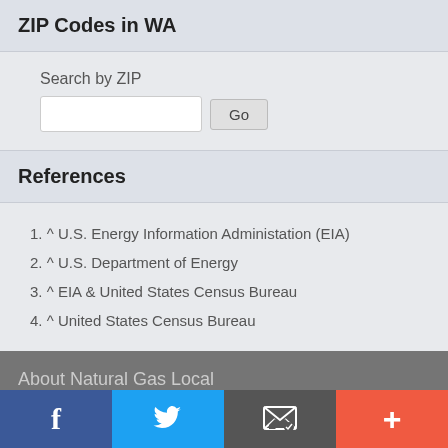ZIP Codes in WA
Search by ZIP
References
1. ^ U.S. Energy Information Administation (EIA)
2. ^ U.S. Department of Energy
3. ^ EIA & United States Census Bureau
4. ^ United States Census Bureau
About Natural Gas Local
Natural Gas Local offers up in-depth analysis of statistics & data to help consumers get a full
f  [Twitter bird]  [Email]  +